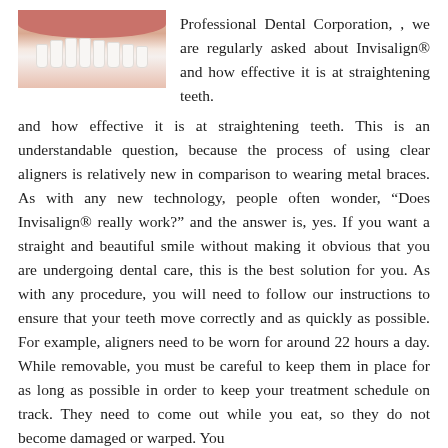[Figure (photo): Close-up photo of a person's mouth showing teeth and lips, used to illustrate dental content]
Professional Dental Corporation, , we are regularly asked about Invisalign® and how effective it is at straightening teeth. This is an understandable question, because the process of using clear aligners is relatively new in comparison to wearing metal braces. As with any new technology, people often wonder, “Does Invisalign® really work?” and the answer is, yes. If you want a straight and beautiful smile without making it obvious that you are undergoing dental care, this is the best solution for you. As with any procedure, you will need to follow our instructions to ensure that your teeth move correctly and as quickly as possible. For example, aligners need to be worn for around 22 hours a day. While removable, you must be careful to keep them in place for as long as possible in order to keep your treatment schedule on track. They need to come out while you eat, so they do not become damaged or warped. You